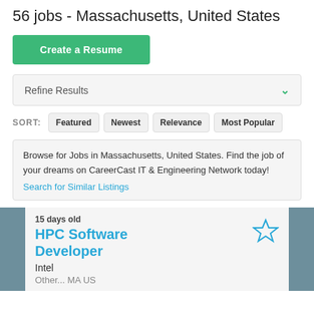56 jobs - Massachusetts, United States
Create a Resume
Refine Results
SORT: Featured  Newest  Relevance  Most Popular
Browse for Jobs in Massachusetts, United States. Find the job of your dreams on CareerCast IT & Engineering Network today!
Search for Similar Listings
15 days old
HPC Software Developer
Intel
Other... MA US